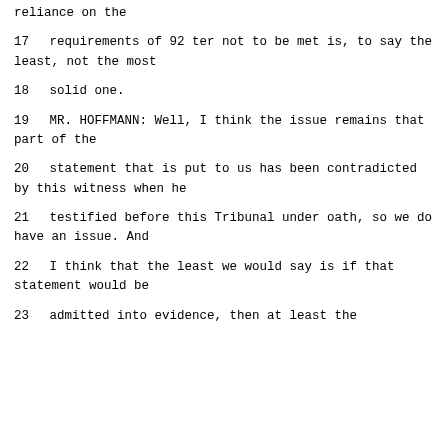reliance on the
17     requirements of 92 ter not to be met is, to say the least, not the most
18     solid one.
19          MR. HOFFMANN:  Well, I think the issue remains that part of the
20     statement that is put to us has been contradicted by this witness when he
21     testified before this Tribunal under oath, so we do have an issue.  And
22     I think that the least we would say is if that statement would be
23     admitted into evidence, then at least the